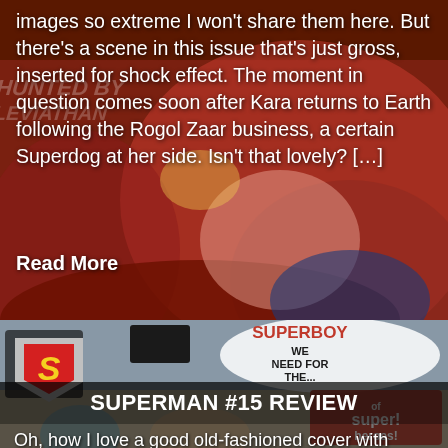[Figure (illustration): Comic book artwork showing a superhero battle scene, colorful action illustration from a DC Comics issue]
images so extreme I won't share them here. But there's a scene in this issue that's just gross, inserted for shock effect. The moment in question comes soon after Kara returns to Earth following the Rogol Zaar business, a certain Superdog at her side. Isn't that lovely? […]
Read More
[Figure (illustration): Superman #15 comic book cover showing superheroes including Legion of Super-Heroes members, with Superman shield logo and speech bubble saying SUPERBOY WE NEED FOR THE... and Legion of Super-Heroes logo]
SUPERMAN #15 REVIEW
Oh, how I love a good old-fashioned cover with